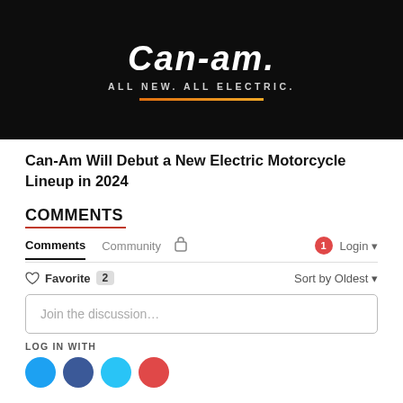[Figure (photo): Dark promotional image for Can-Am electric motorcycle with logo text 'Can-Am' in italic white, tagline 'ALL NEW. ALL ELECTRIC.' and an orange underline bar]
Can-Am Will Debut a New Electric Motorcycle Lineup in 2024
COMMENTS
Comments   Community   🔒   1   Login ▼
♡ Favorite  2   Sort by Oldest ▼
Join the discussion…
LOG IN WITH